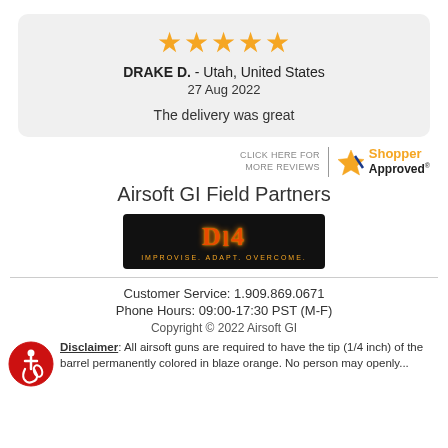[Figure (other): Five gold star rating icons]
DRAKE D.  - Utah, United States
27 Aug 2022
The delivery was great
[Figure (logo): Shopper Approved logo with star and text: CLICK HERE FOR MORE REVIEWS | Shopper Approved]
Airsoft GI Field Partners
[Figure (logo): D14 logo on black background with text IMPROVISE. ADAPT. OVERCOME.]
Customer Service: 1.909.869.0671
Phone Hours: 09:00-17:30 PST (M-F)
Copyright © 2022 Airsoft GI
Disclaimer: All airsoft guns are required to have the tip (1/4 inch) of the barrel permanently colored in blaze orange. No person may openly...